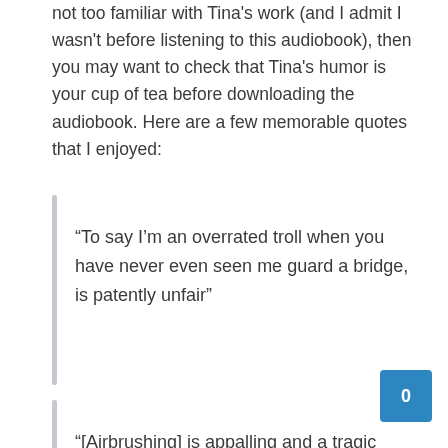not too familiar with Tina's work (and I admit I wasn't before listening to this audiobook), then you may want to check that Tina's humor is your cup of tea before downloading the audiobook. Here are a few memorable quotes that I enjoyed:
“To say I’m an overrated troll when you have never even seen me guard a bridge, is patently unfair”
“[Airbrushing] is appalling and a tragic reflection on the moral decay of our society … unless I need it, in which